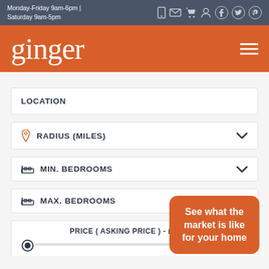Monday-Friday 9am-6pm | Saturday 9am-5pm
ginger
LOCATION
RADIUS (MILES)
MIN. BEDROOMS
MAX. BEDROOMS
PRICE ( ASKING PRICE ) - £0 - £2,0...
See what the market is like for your home